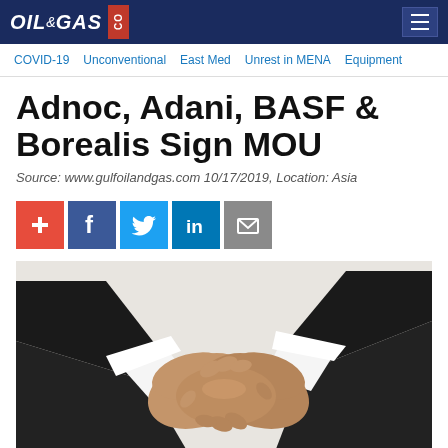OIL&GAS CO
COVID-19  Unconventional  East Med  Unrest in MENA  Equipment
Adnoc, Adani, BASF & Borealis Sign MOU
Source: www.gulfoilandgas.com 10/17/2019, Location: Asia
[Figure (infographic): Social sharing icons: plus/add, Facebook, Twitter, LinkedIn, Email]
[Figure (photo): Photo of two people in business suits shaking hands against a white background]